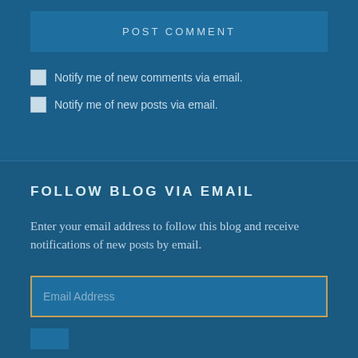POST COMMENT
Notify me of new comments via email.
Notify me of new posts via email.
FOLLOW BLOG VIA EMAIL
Enter your email address to follow this blog and receive notifications of new posts by email.
Email Address